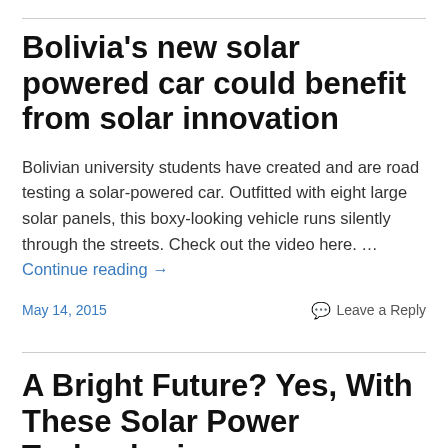Bolivia's new solar powered car could benefit from solar innovation
Bolivian university students have created and are road testing a solar-powered car. Outfitted with eight large solar panels, this boxy-looking vehicle runs silently through the streets. Check out the video here. … Continue reading →
May 14, 2015    💬 Leave a Reply
A Bright Future? Yes, With These Solar Power Technologies